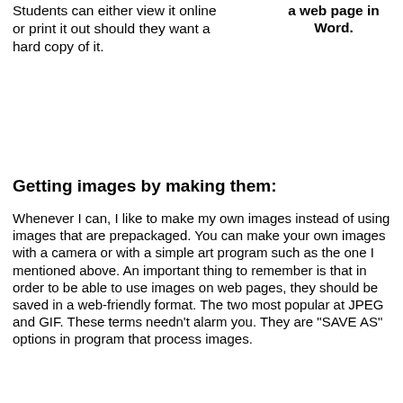Students can either view it online or print it out should they want a hard copy of it.
a web page in Word.
Getting images by making them:
Whenever I can, I like to make my own images instead of using images that are prepackaged. You can make your own images with a camera or with a simple art program such as the one I mentioned above. An important thing to remember is that in order to be able to use images on web pages, they should be saved in a web-friendly format. The two most popular at JPEG and GIF. These terms needn't alarm you. They are "SAVE AS" options in program that process images.
If a digital camera does not allow you to save images in these formats, simply open them in Paint and convert them to the JPEG or GIF formats. They are then ready to use. JPEG and GIF are formats for storing images. The JPEG format provides a sharper image, but GIF images are smaller. Neither takes up much room, which is a big consideration when having to transport images or store them on the web. To illustrate the difference, here is the